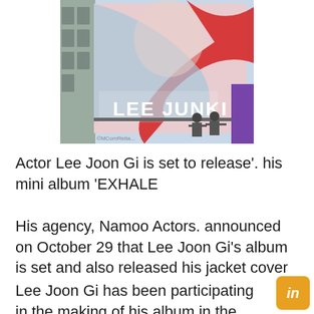[Figure (photo): A billboard featuring 'LEE JUNKI' with red and light blue graphic design elements. Workers/riggers are visible on scaffolding in front of the billboard. A building facade is visible on the left side.]
Actor Lee Joon Gi is set to release'. his mini album 'EXHALE
His agency, Namoo Actors. announced on October 29 that Lee Joon Gi's album is set and also released his jacket cover
Lee Joon Gi has been participating in the making of his album in the midst